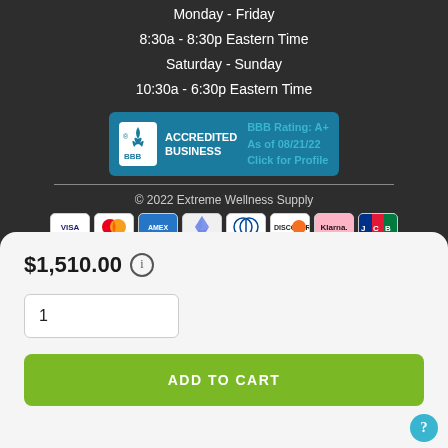Monday - Friday
8:30a - 8:30p Eastern Time
Saturday - Sunday
10:30a - 6:30p Eastern Time
[Figure (logo): BBB Accredited Business badge with A+ rating, as of 08/21/22, Click for Profile]
© 2022 Extreme Wellness Supply
[Figure (infographic): Payment method icons: VISA, Mastercard, AMEX, Ethereum, Diners Club, Discover, Klarna, JCB, and additional partial payment icons]
$1,510.00
1
ADD TO CART